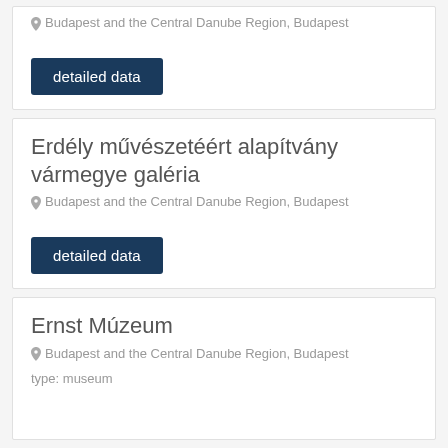Budapest and the Central Danube Region, Budapest
detailed data
Erdély művészetéért alapítvány vármegye galéria
Budapest and the Central Danube Region, Budapest
detailed data
Ernst Múzeum
Budapest and the Central Danube Region, Budapest
type: museum